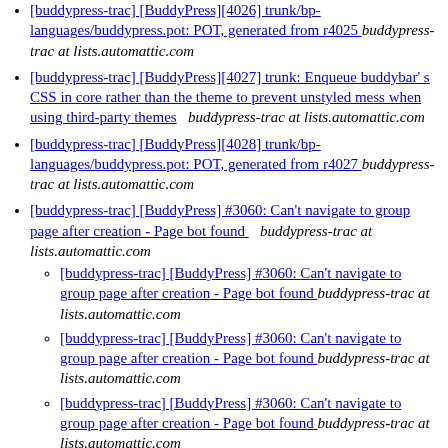[buddypress-trac] [BuddyPress][4026] trunk/bp-languages/buddypress.pot: POT, generated from r4025  buddypress-trac at lists.automattic.com
[buddypress-trac] [BuddyPress][4027] trunk: Enqueue buddybar's CSS in core rather than the theme to prevent unstyled mess when using third-party themes  buddypress-trac at lists.automattic.com
[buddypress-trac] [BuddyPress][4028] trunk/bp-languages/buddypress.pot: POT, generated from r4027  buddypress-trac at lists.automattic.com
[buddypress-trac] [BuddyPress] #3060: Can't navigate to group page after creation - Page bot found  buddypress-trac at lists.automattic.com
[buddypress-trac] [BuddyPress] #3060: Can't navigate to group page after creation - Page bot found  buddypress-trac at lists.automattic.com
[buddypress-trac] [BuddyPress] #3060: Can't navigate to group page after creation - Page bot found  buddypress-trac at lists.automattic.com
[buddypress-trac] [BuddyPress] #3060: Can't navigate to group page after creation - Page bot found  buddypress-trac at lists.automattic.com
[buddypress-trac] [BuddyPress] #3060: Can't navigate to group page after creation - Page bot found  buddypress-trac at lists.automattic.com